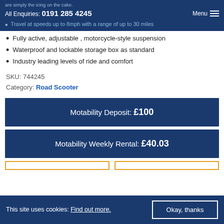are simply the icing on the cake.
All Enquiries: 0191 285 4245
Travel at speeds up to 8mph with a range of up to 30 miles
Fully active, adjustable , motorcycle-style suspension
Waterproof and lockable storage box as standard
Industry leading levels of ride and comfort
SKU: 744245
Category: Road Scooter
Motability Deposit: £100
Motability Weekly Rental: £40.03
This site uses cookies: Find out more.
Okay, thanks